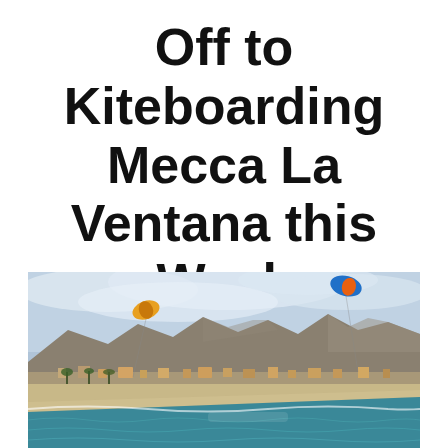Off to Kiteboarding Mecca La Ventana this Week
[Figure (photo): Aerial coastal view of La Ventana, Mexico showing a turquoise bay with sandy beach, a town nestled at the base of brown mountains, and two colorful kiteboarding kites visible in the cloudy sky.]